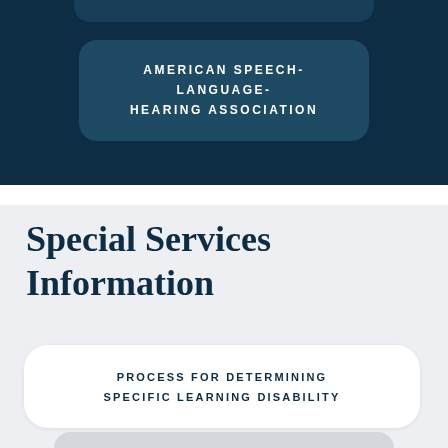[Figure (other): Top decorative pill shape cutoff at top of dark navy header]
AMERICAN SPEECH-LANGUAGE-HEARING ASSOCIATION
Special Services Information
PROCESS FOR DETERMINING SPECIFIC LEARNING DISABILITY
[Figure (other): Bottom decorative pill shape partially visible at bottom of page]